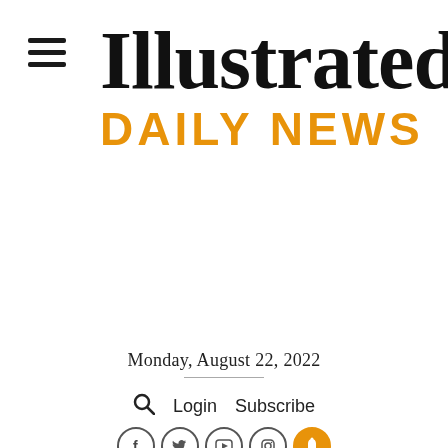Illustrated DAILY NEWS
Monday, August 22, 2022
Login  Subscribe